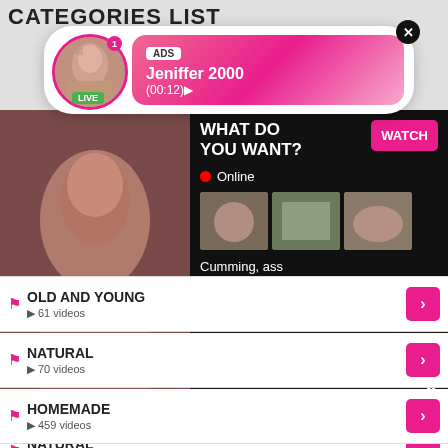CATEGORIES LIST
[Figure (screenshot): Ad overlay with live user Jeniffer 2000, showing LIVE badge, (00:12) timer, pink gradient background, close button]
18 YEARS OLD
[Figure (screenshot): Adult content advertisement overlay showing explicit content with WHAT DO YOU WANT? heading, WATCH button, Online indicator, thumbnails, and text: Cumming, ass fucking, squirt or... • ADS]
OLD AND YOUNG · 61 videos
NATURAL · 70 videos
HOMEMADE · 459 videos